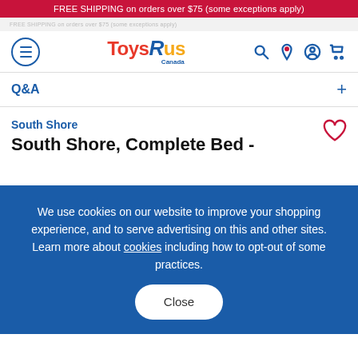FREE SHIPPING on orders over $75 (some exceptions apply)
[Figure (logo): Toys R Us Canada logo with hamburger menu, search, location, account, and cart icons]
Q&A
South Shore
South Shore, Complete Bed -
We use cookies on our website to improve your shopping experience, and to serve advertising on this and other sites. Learn more about cookies including how to opt-out of some practices.